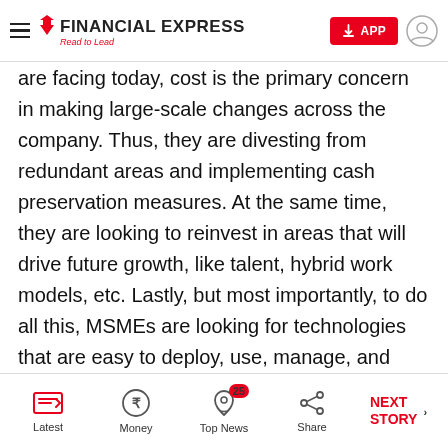FINANCIAL EXPRESS — Read to Lead
are facing today, cost is the primary concern in making large-scale changes across the company. Thus, they are divesting from redundant areas and implementing cash preservation measures. At the same time, they are looking to reinvest in areas that will drive future growth, like talent, hybrid work models, etc. Lastly, but most importantly, to do all this, MSMEs are looking for technologies that are easy to deploy, use, manage, and scale. Most are looking for solutions that they can be
Latest | Money | Top News 25 | Share | NEXT STORY